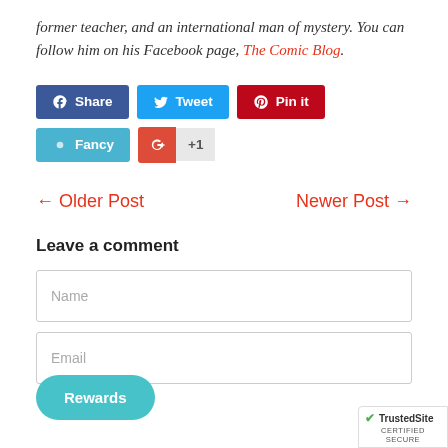former teacher, and an international man of mystery. You can follow him on his Facebook page, The Comic Blog.
[Figure (other): Social sharing buttons: Facebook Share, Twitter Tweet, Pinterest Pin it, Fancy, Google +1]
← Older Post    Newer Post →
Leave a comment
[Figure (other): Name input field form element]
[Figure (other): Email input field form element (partially visible)]
[Figure (other): Rewards bubble button overlay]
[Figure (other): TrustedSite Certified Secure badge]